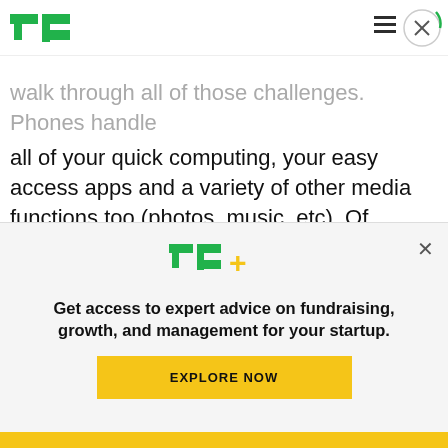TechCrunch header with logo, hamburger menu, and close button
walk through all of those challenges. Phones handle all of your quick computing, your easy access apps and a variety of other media functions too (photos, music, etc). Of course phones would remain the core around which everything else you do would work.
Those of us in tech and games are conditioned to
[Figure (logo): TechCrunch TC+ promotional banner with logo, text 'Get access to expert advice on fundraising, growth, and management for your startup.' and EXPLORE NOW button]